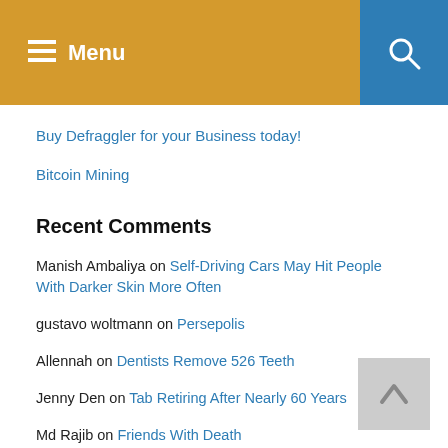Menu
Buy Defraggler for your Business today!
Bitcoin Mining
Recent Comments
Manish Ambaliya on Self-Driving Cars May Hit People With Darker Skin More Often
gustavo woltmann on Persepolis
Allennah on Dentists Remove 526 Teeth
Jenny Den on Tab Retiring After Nearly 60 Years
Md Rajib on Friends With Death
kevincena43@gmail.com on Win A $25 Gift Card
Jonah on July 31 Birthdays
Tom McNamara on July 31 Birthdays
Gus Tolson on Captain Hook